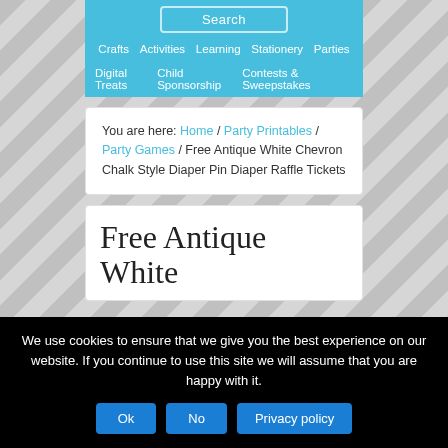Crafts | Activities | Learning | Stationery | Parties | Digital Treats | Child Sponsorship | Contests & Sweepstakes
You are here: Home / Party Printables / Party Games / Free Antique White Chevron Chalk Style Diaper Pin Diaper Raffle Tickets
Free Antique White
We use cookies to ensure that we give you the best experience on our website. If you continue to use this site we will assume that you are happy with it.